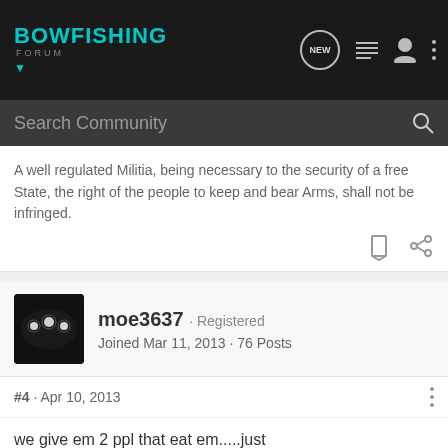BOWFISHING FORUM
Search Community
A well regulated Militia, being necessary to the security of a free State, the right of the people to keep and bear Arms, shall not be infringed.
moe3637 · Registered
Joined Mar 11, 2013 · 76 Posts
#4 · Apr 10, 2013
we give em 2 ppl that eat em.....just wondering.........anybody know if its illegal 2 sell em ? i could prob quit wrk and just start shootin fish,,,,man that would b tha life huh ???..... :jig:
[Figure (screenshot): Advertisement banner: YOUR NEW FAVORITE SPORT - EXPLORE HOW TO RESPONSIBLY PARTICIPATE IN THE SHOOTING SPORTS. START HERE!]